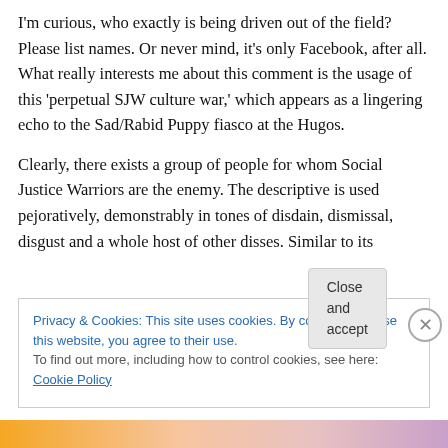I'm curious, who exactly is being driven out of the field?  Please list names.  Or never mind, it's only Facebook, after all.  What really interests me about this comment is the usage of this 'perpetual SJW culture war,' which appears as a lingering echo to the Sad/Rabid Puppy fiasco at the Hugos.
Clearly, there exists a group of people for whom Social Justice Warriors are the enemy.  The descriptive is used pejoratively, demonstrably in tones of disdain, dismissal, disgust and a whole host of other disses.  Similar to its
Privacy & Cookies: This site uses cookies. By continuing to use this website, you agree to their use.
To find out more, including how to control cookies, see here: Cookie Policy